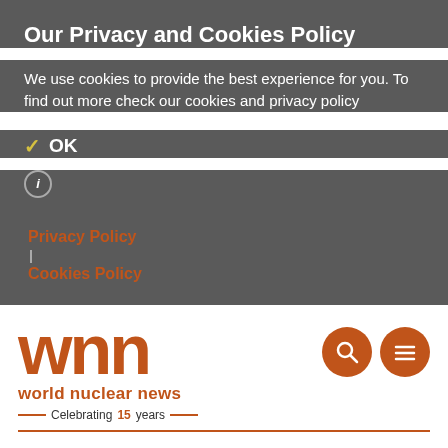Our Privacy and Cookies Policy
We use cookies to provide the best experience for you. To find out more check our cookies and privacy policy
✓ OK
ℹ
Privacy Policy
Cookies Policy
[Figure (logo): World Nuclear News (WNN) logo with orange lettering and 'Celebrating 15 years' tagline]
EPA approval for Wiluna expansion